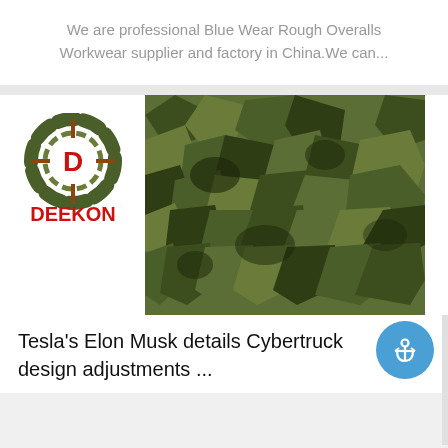We are professional Blue Wear Rough Overalls Workwear supplier and factory in China.We can...
[Figure (logo): DEEKON brand logo with camouflage circular emblem and red DEEKON text, alongside a camouflage netting product image]
Tesla's Elon Musk details Cybertruck design adjustments ...